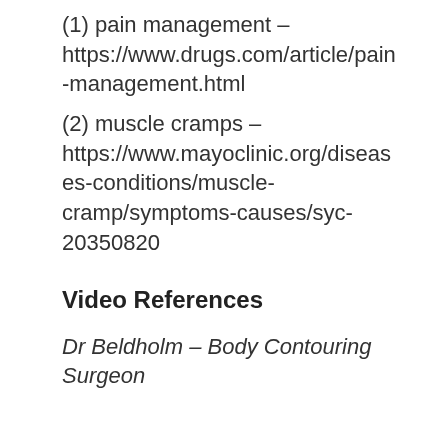(1) pain management – https://www.drugs.com/article/pain-management.html
(2) muscle cramps – https://www.mayoclinic.org/diseases-conditions/muscle-cramp/symptoms-causes/syc-20350820
Video References
Dr Beldholm – Body Contouring Surgeon